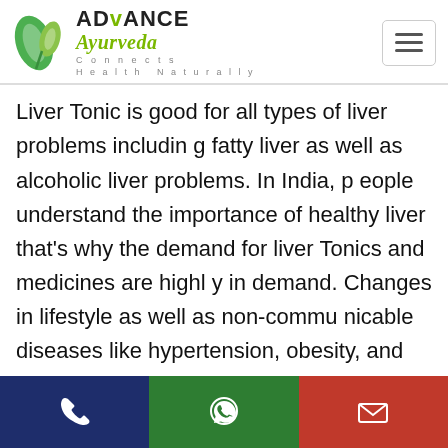[Figure (logo): Advance Ayurveda logo with green leaf icon and text 'ADvANCE Ayurveda Connects Health Naturally']
Liver Tonic is good for all types of liver problems including fatty liver as well as alcoholic liver problems. In India, people understand the importance of healthy liver that's why the demand for liver Tonics and medicines are highly in demand. Changes in lifestyle as well as non-communicable diseases like hypertension, obesity, and diabetes had led India. Due to this, liver disease rising immensely and it became the 10th most common reason for death
[Figure (infographic): Footer bar with three icons: phone (blue), WhatsApp (green), email (red)]